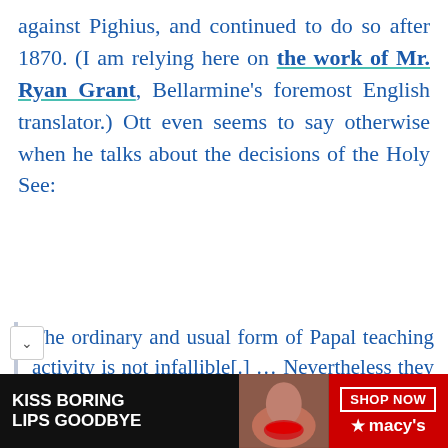against Pighius, and continued to do so after 1870. (I am relying here on the work of Mr. Ryan Grant, Bellarmine's foremost English translator.) Ott even seems to say otherwise when he talks about the decisions of the Holy See:
The ordinary and usual form of Papal teaching activity is not infallible[.] … Nevertheless they are normally to be accepted with an inner assent which is based on the high supernatural
[Figure (other): Advertisement banner for Macy's lip product. Left side shows 'KISS BORING LIPS GOODBYE' text on dark background with photo of woman with red lips. Right side is red with 'SHOP NOW' button and Macy's star logo.]